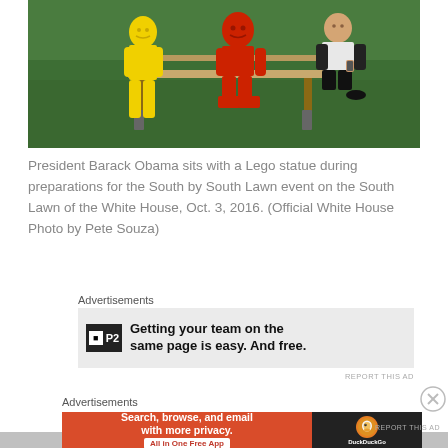[Figure (photo): President Barack Obama sitting on a park bench with red and yellow Lego statues on the South Lawn of the White House, grass background]
President Barack Obama sits with a Lego statue during preparations for the South by South Lawn event on the South Lawn of the White House, Oct. 3, 2016. (Official White House Photo by Pete Souza)
Advertisements
[Figure (screenshot): P2 advertisement: Getting your team on the same page is easy. And free.]
REPORT THIS AD
Advertisements
[Figure (screenshot): DuckDuckGo advertisement: Search, browse, and email with more privacy. All in One Free App]